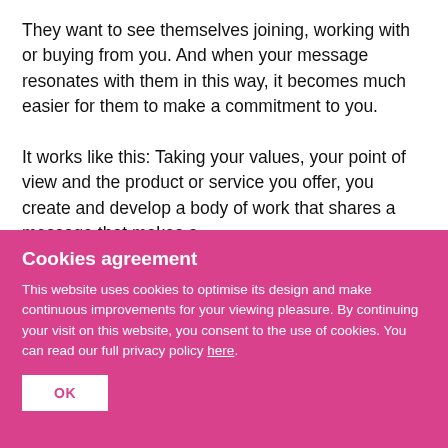They want to see themselves joining, working with or buying from you. And when your message resonates with them in this way, it becomes much easier for them to make a commitment to you.

It works like this: Taking your values, your point of view and the product or service you offer, you create and develop a body of work that shares a message that makes a
Cookies agreement
This website uses cookies to optimise its design and make continuous improvements for your viewing pleasure. By continuing your visit on this website, you consent to the use of cookies. You can read our full privacy policy here.
OK